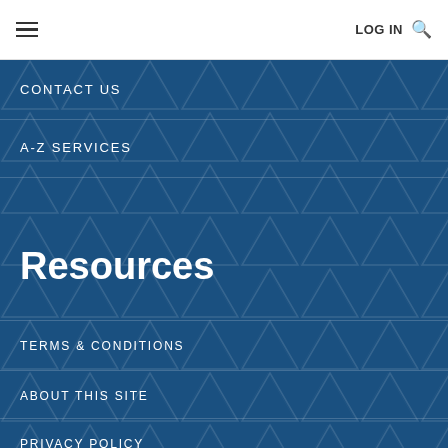LOG IN
CONTACT US
A-Z SERVICES
Resources
TERMS & CONDITIONS
ABOUT THIS SITE
PRIVACY POLICY